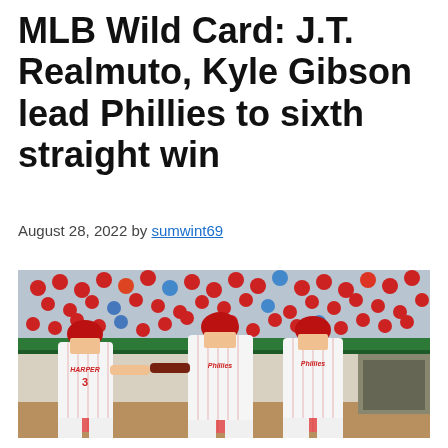MLB Wild Card: J.T. Realmuto, Kyle Gibson lead Phillies to sixth straight win
August 28, 2022 by sumwint69
[Figure (photo): Philadelphia Phillies players celebrating on the field, including Bryce Harper (#3) in a pinstripe jersey being greeted by teammates, with a packed crowd in the background.]